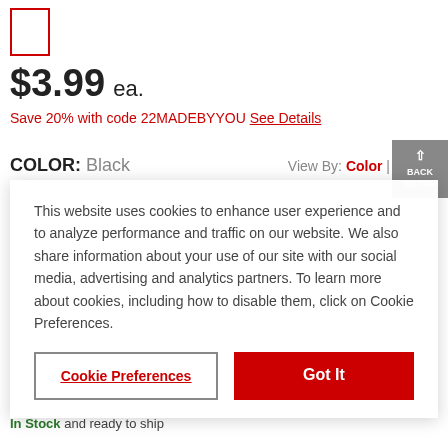[Figure (logo): Red outlined rectangle logo placeholder in top left corner]
$3.99 ea.
Save 20% with code 22MADEBYYOU See Details
COLOR: Black
View By: Color |
BACK TO TOP
This website uses cookies to enhance user experience and to analyze performance and traffic on our website. We also share information about your use of our site with our social media, advertising and analytics partners. To learn more about cookies, including how to disable them, click on Cookie Preferences.
Cookie Preferences
Got It
In Stock and ready to ship
Ship to Me FREE over $69